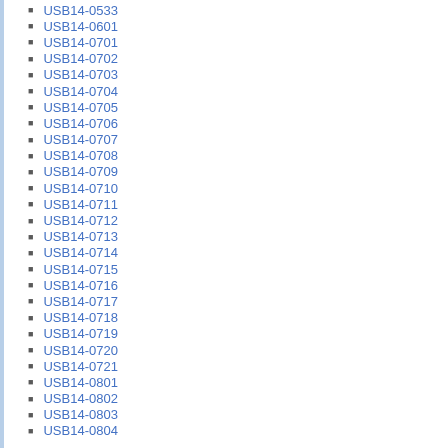USB14-0533
USB14-0601
USB14-0701
USB14-0702
USB14-0703
USB14-0704
USB14-0705
USB14-0706
USB14-0707
USB14-0708
USB14-0709
USB14-0710
USB14-0711
USB14-0712
USB14-0713
USB14-0714
USB14-0715
USB14-0716
USB14-0717
USB14-0718
USB14-0719
USB14-0720
USB14-0721
USB14-0801
USB14-0802
USB14-0803
USB14-0804